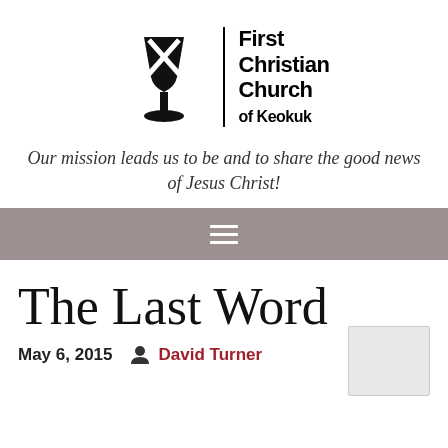[Figure (logo): First Christian Church of Keokuk logo with chalice/communion cup icon and church name text]
Our mission leads us to be and to share the good news of Jesus Christ!
[Figure (other): Navigation bar with hamburger menu icon]
The Last Word
May 6, 2015   David Turner